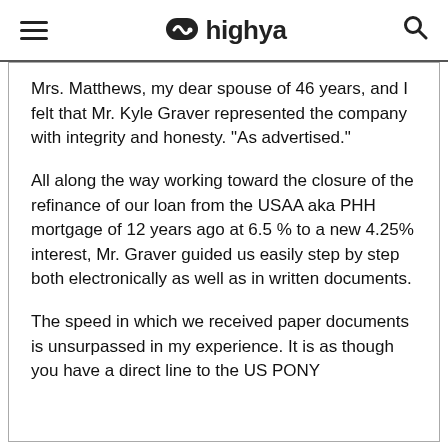highya
Mrs. Matthews, my dear spouse of 46 years, and I felt that Mr. Kyle Graver represented the company with integrity and honesty. "As advertised."
All along the way working toward the closure of the refinance of our loan from the USAA aka PHH mortgage of 12 years ago at 6.5 % to a new 4.25% interest, Mr. Graver guided us easily step by step both electronically as well as in written documents.
The speed in which we received paper documents is unsurpassed in my experience. It is as though you have a direct line to the US PONY